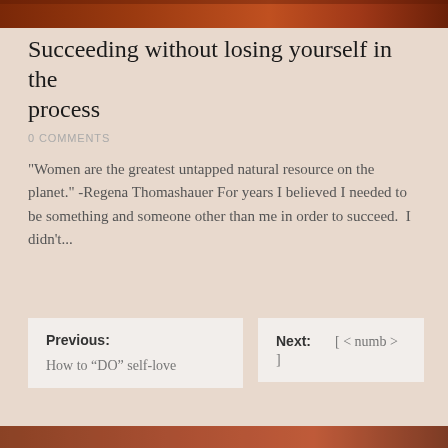[Figure (photo): Top banner image with dark reddish-brown warm tones, appears to be a decorative header photograph]
Succeeding without losing yourself in the process
0 COMMENTS
"Women are the greatest untapped natural resource on the planet." -Regena Thomashauer For years I believed I needed to be something and someone other than me in order to succeed.  I didn't...
Previous:
How to “DO” self-love
Next:     [ < numb > ]
[Figure (photo): Bottom partial image with warm reddish-brown tones]